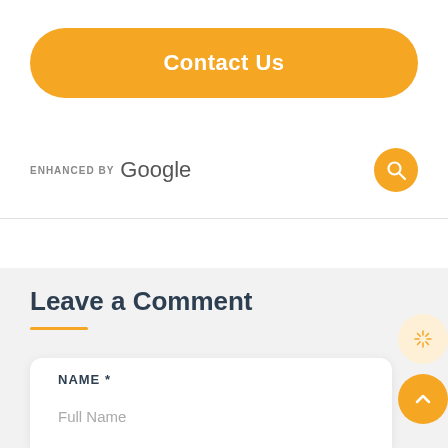Contact Us
ENHANCED BY Google
Leave a Comment
NAME *
Full Name